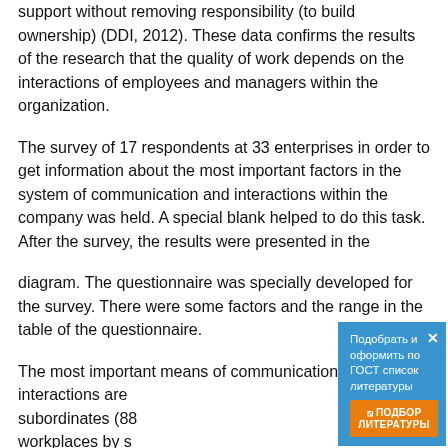support without removing responsibility (to build ownership) (DDI, 2012). These data confirms the results of the research that the quality of work depends on the interactions of employees and managers within the organization.
The survey of 17 respondents at 33 enterprises in order to get information about the most important factors in the system of communication and interactions within the company was held. A special blank helped to do this task. After the survey, the results were presented in the
diagram. The questionnaire was specially developed for the survey. There were some factors and the range in the table of the questionnaire.
The most important means of communication and interactions are subordinates (88 workplaces by s (61%), the desk c
Means of commu
[Figure (infographic): Blue popup overlay with Russian text 'Подобрать и оформить по ГОСТ список литературы' and an orange button '⊡ ПОДБОР ЛИТЕРАТУРЫ' with a close X button]